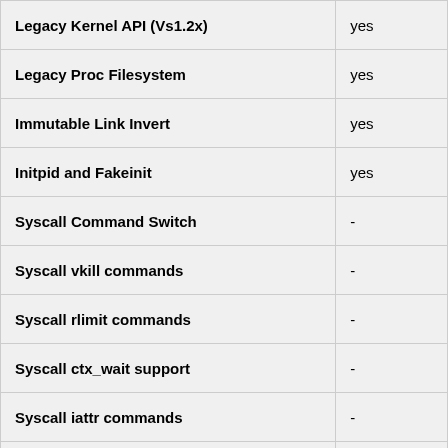| Feature | Support |
| --- | --- |
| Legacy Kernel API (Vs1.2x) | yes |
| Legacy Proc Filesystem | yes |
| Immutable Link Invert | yes |
| Initpid and Fakeinit | yes |
| Syscall Command Switch | - |
| Syscall vkill commands | - |
| Syscall rlimit commands | - |
| Syscall ctx_wait support | - |
| Syscall iattr commands | - |
| Syscall namespace commands | - |
| Syscall context flags | - |
| Syscall context caps | - |
| Syscall scheduler tuning | - |
| Syscall 32bit compat | - |